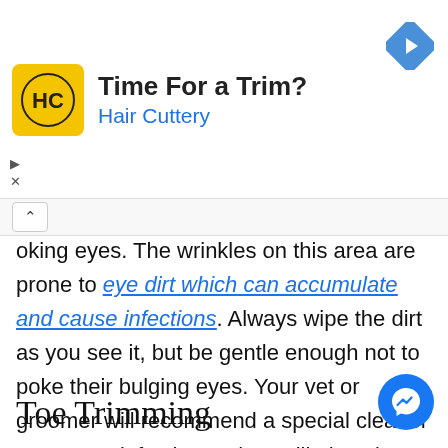[Figure (logo): Hair Cuttery advertisement banner with yellow HC logo, title 'Time For a Trim?' and subtitle 'Hair Cuttery', plus a blue diamond navigation icon]
oking eyes. The wrinkles on this area are prone to eye dirt which can accumulate and cause infections. Always wipe the dirt as you see it, but be gentle enough not to poke their bulging eyes. Your vet or groomer will recommend a special cleaner to prevent infections. They will also give you additional tips for cleaning your Basset Hound pet.
Toe Trimming